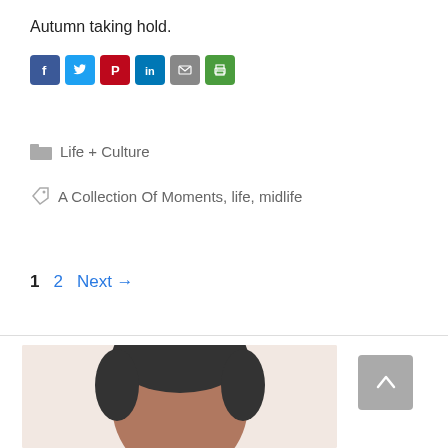Autumn taking hold.
[Figure (infographic): Social share buttons row: Facebook (blue), Twitter (blue), Pinterest (red), LinkedIn (blue), Email (grey), Print (green)]
Life + Culture
A Collection Of Moments, life, midlife
1   2   Next →
[Figure (photo): Top of a person's head, dark hair, cropped portrait photo on light background]
[Figure (other): Back to top button, grey square with upward chevron arrow]